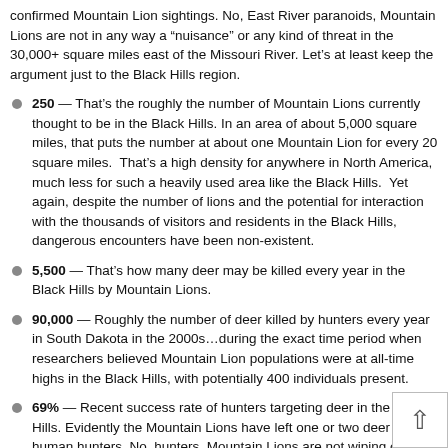confirmed Mountain Lion sightings. No, East River paranoids, Mountain Lions are not in any way a “nuisance” or any kind of threat in the 30,000+ square miles east of the Missouri River. Let’s at least keep the argument just to the Black Hills region.
250 — That’s the roughly the number of Mountain Lions currently thought to be in the Black Hills. In an area of about 5,000 square miles, that puts the number at about one Mountain Lion for every 20 square miles. That’s a high density for anywhere in North America, much less for such a heavily used area like the Black Hills. Yet again, despite the number of lions and the potential for interaction with the thousands of visitors and residents in the Black Hills, dangerous encounters have been non-existent.
5,500 — That’s how many deer may be killed every year in the Black Hills by Mountain Lions.
90,000 — Roughly the number of deer killed by hunters every year in South Dakota in the 2000s…during the exact time period when researchers believed Mountain Lion populations were at all-time highs in the Black Hills, with potentially 400 individuals present.
69% — Recent success rate of hunters targeting deer in the Black Hills. Evidently the Mountain Lions have left one or two deer for human hunters. No, hunters, Mountain Lions are not wiping out the Black Hills deer population.